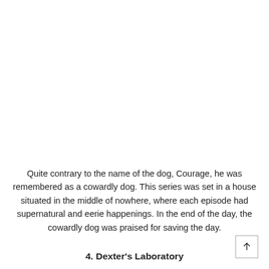Quite contrary to the name of the dog, Courage, he was remembered as a cowardly dog. This series was set in a house situated in the middle of nowhere, where each episode had supernatural and eerie happenings. In the end of the day, the cowardly dog was praised for saving the day.
4. Dexter's Laboratory